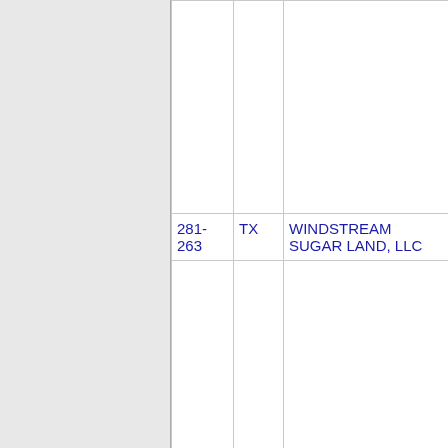| 281-263 | TX | WINDSTREAM SUGAR LAND, LLC | 2147 |  |